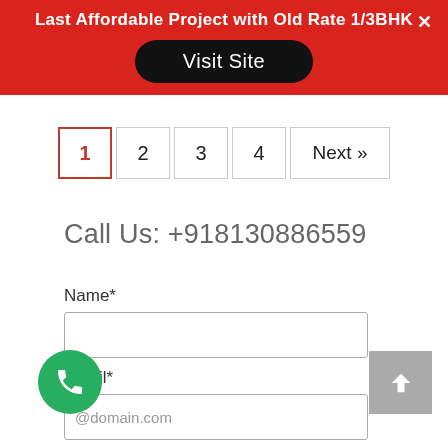Last Affordable Project with Old Rate 1/3BHK
Visit Site
1  2  3  4  Next »
Call Us: +918130886559
Name*
Email*
@domain.com
Phone No*